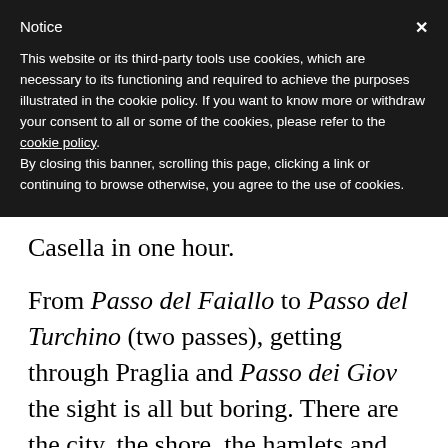Notice
This website or its third-party tools use cookies, which are necessary to its functioning and required to achieve the purposes illustrated in the cookie policy. If you want to know more or withdraw your consent to all or some of the cookies, please refer to the cookie policy.
By closing this banner, scrolling this page, clicking a link or continuing to browse otherwise, you agree to the use of cookies.
Casella in one hour.
From Passo del Faiallo to Passo del Turchino (two passes), getting through Praglia and Passo dei Giov the sight is all but boring. There are the city, the shore, the hamlets and untouched nature. And don miss the chance of tasting Genovese typical products and cuisine, as the well-known pesto bu